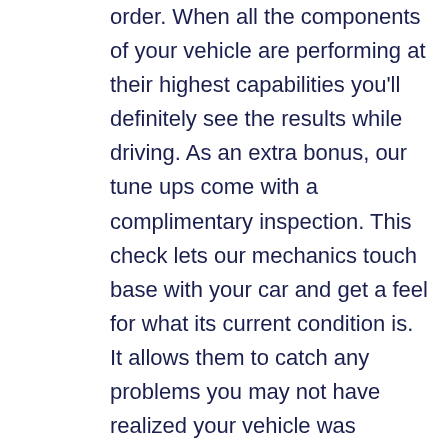order. When all the components of your vehicle are performing at their highest capabilities you'll definitely see the results while driving. As an extra bonus, our tune ups come with a complimentary inspection. This check lets our mechanics touch base with your car and get a feel for what its current condition is. It allows them to catch any problems you may not have realized your vehicle was experiencing. It also gives them a chance to map out what issues may need to be addressed within the upcoming months and years. When you and your local mechanic are up to date on the happenings of your car you can be sure that your vehicle will run more effectively. So, whether you own an electric, hybrid, or gas car, there's some way that our crew of talented mechanics can help.